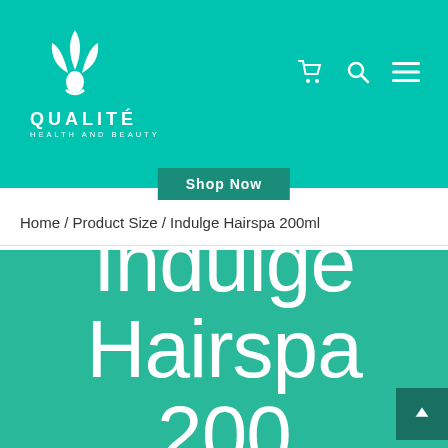[Figure (logo): Qualité Health and Beauty logo with white leaf/flower icon on teal background, text QUALITÉ HEALTH AND BEAUTY]
[Figure (other): Navigation icons: shopping cart, search, and hamburger menu in white on teal background]
[Figure (other): Shop Now button in dark teal]
Home / Product Size / Indulge Hairspa 200ml
Indulge Hairspa 200ml